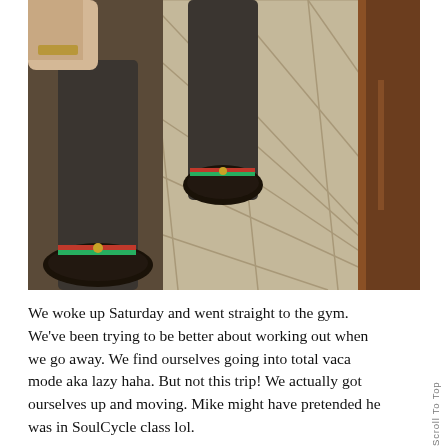[Figure (photo): A downward-looking photo of someone's feet wearing black Gucci loafers with red and green stripe detail and dark pants, standing on a beige stone tile floor with a dark wood border.]
We woke up Saturday and went straight to the gym. We've been trying to be better about working out when we go away. We find ourselves going into total vaca mode aka lazy haha. But not this trip! We actually got ourselves up and moving. Mike might have pretended he was in SoulCycle class lol.